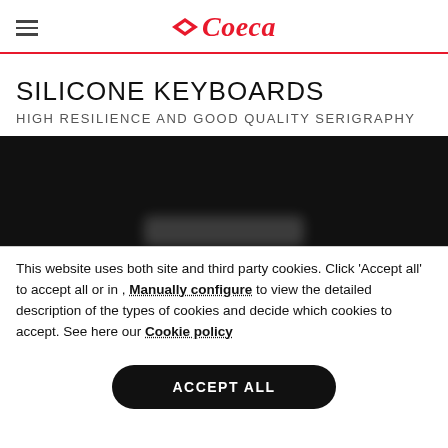Coeca
SILICONE KEYBOARDS
HIGH RESILIENCE AND GOOD QUALITY SERIGRAPHY
[Figure (photo): Dark photo of a silicone keyboard, mostly black with some blurred white/light key shapes visible at the bottom center.]
This website uses both site and third party cookies. Click 'Accept all' to accept all or in , Manually configure to view the detailed description of the types of cookies and decide which cookies to accept. See here our Cookie policy